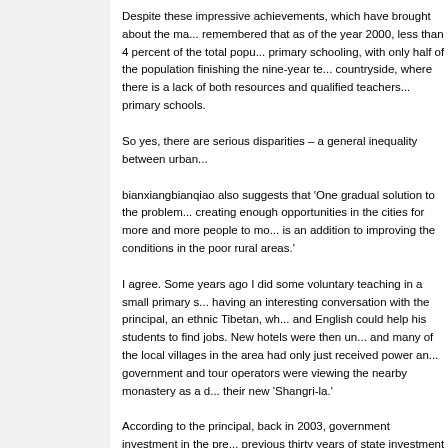Despite these impressive achievements, which have brought about the ma... remembered that as of the year 2000, less than 4 percent of the total popu... primary schooling, with only half of the population finishing the nine-year te... countryside, where there is a lack of both resources and qualified teachers... primary schools.
So yes, there are serious disparities – a general inequality between urban...
bianxiangbianqiao also suggests that 'One gradual solution to the problem... creating enough opportunities in the cities for more and more people to mo... is an addition to improving the conditions in the poor rural areas.'
I agree. Some years ago I did some voluntary teaching in a small primary s... having an interesting conversation with the principal, an ethnic Tibetan, wh... and English could help his students to find jobs. New hotels were then un... and many of the local villages in the area had only just received power an... government and tour operators were viewing the nearby monastery as a d... their new 'Shangri-la.'
According to the principal, back in 2003, government investment in the pre... previous thirty years of state investment combined. He surmised that by th... jobs as tour guides or as hotel or restaurant staff, provided they can speak... one and the same thing,' he said.
Enticing qualified teachers from the cities into remote rural areas is never e... teaching at in Zhongdian for example, was expected to teach English as p... teacher to run the program. The school had to make do by sharing a Tibet... was quite fluent and well trained, but was only able to visit the primary sch...